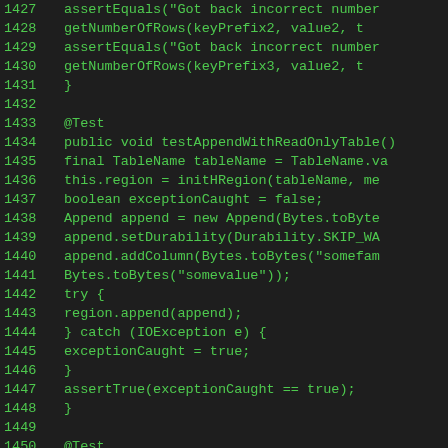Source code listing, lines 1427–1455, Java test methods for HBase region operations (testAppendWithReadOnlyTable, testIncrWithReadOnlyTable)